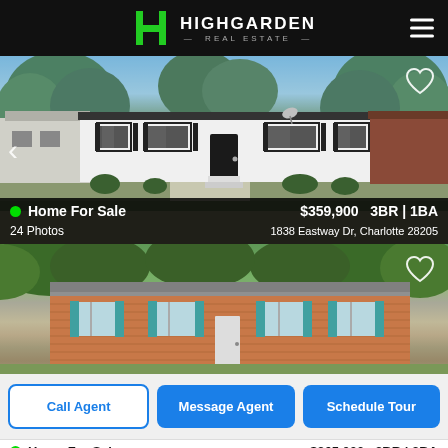[Figure (logo): Highgarden Real Estate logo with green H icon and company name in white/green text]
[Figure (photo): Front exterior photo of a single-story white ranch house with dark shutters, green lawn, blue sky with trees. Home for sale listing.]
Home For Sale   $359,900   3BR | 1BA
24 Photos   1838 Eastway Dr, Charlotte 28205
[Figure (photo): Front exterior photo of a single-story brick ranch house with blue/teal shutters and green trees in background.]
Call Agent
Message Agent
Schedule Tour
Home For Sale   $365,000   3BR | 2BA